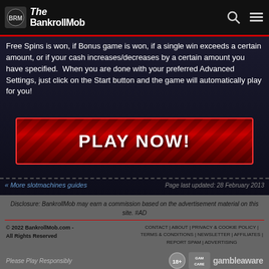The BankrollMob
Free Spins is won, if Bonus game is won, if a single win exceeds a certain amount, or if your cash increases/decreases by a certain amount you have specified.  When you are done with your preferred Advanced Settings, just click on the Start button and the game will automatically play for you!
[Figure (other): Red PLAY NOW! button with diagonal stripe texture]
« More slotmachines guides
Page last updated: 28 February 2013
Disclosure: BankrollMob may earn a commission based on the advertisement material on this site. #AD
© 2022 BankrollMob.com - All Rights Reserved
CONTACT | ABOUT | PRIVACY & COOKIE POLICY | TERMS & CONDITIONS | NEWSLETTER | AFFILIATES | REPORT SPAM | ADVERTISING
Please Play Responsibly